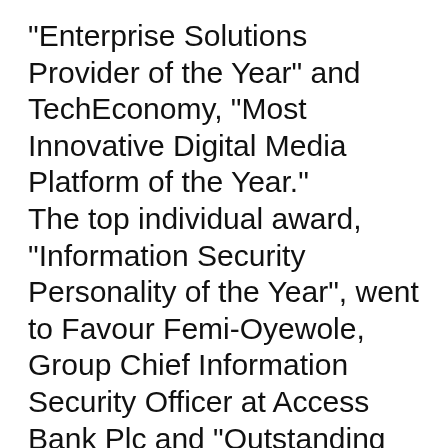"Enterprise Solutions Provider of the Year" and TechEconomy, "Most Innovative Digital Media Platform of the Year."
The top individual award, "Information Security Personality of the Year", went to Favour Femi-Oyewole, Group Chief Information Security Officer at Access Bank Plc and "Outstanding Humanitarian of the Year" was conferred on Engr. Anthony Onyokoko, Director Civil/New Lines, Nigerian Railway Corporation.